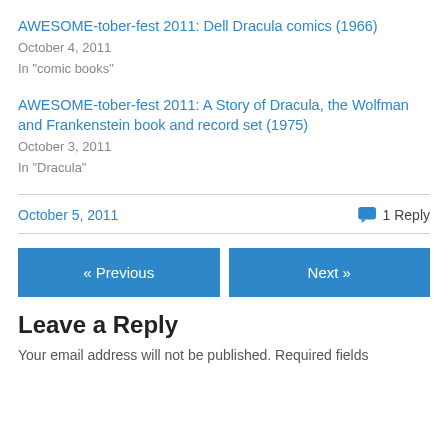AWESOME-tober-fest 2011: Dell Dracula comics (1966)
October 4, 2011
In "comic books"
AWESOME-tober-fest 2011: A Story of Dracula, the Wolfman and Frankenstein book and record set (1975)
October 3, 2011
In "Dracula"
October 5, 2011   1 Reply
« Previous
Next »
Leave a Reply
Your email address will not be published. Required fields